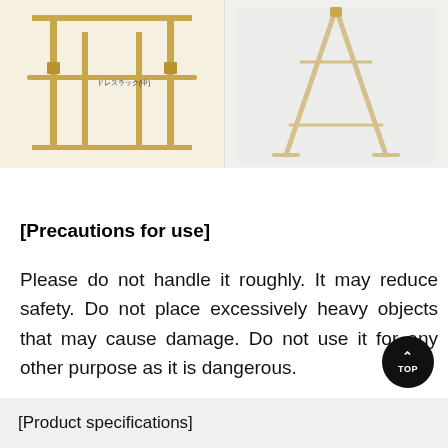[Figure (photo): Left: Line drawing / diagram of a wooden clothes rack/stand with horizontal bar and legs, with small Japanese text label. Right: Photo of a wooden A-frame clothes rack stand on white background.]
[Precautions for use]
Please do not handle it roughly. It may reduce safety. Do not place excessively heavy objects that may cause damage. Do not use it for any other purpose as it is dangerous.
[Figure (illustration): Black circular TOP button with upward arrow chevron icon]
[Product specifications]